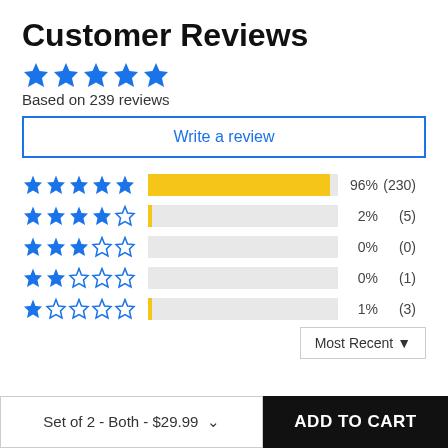Customer Reviews
[Figure (other): 5 blue filled stars rating]
Based on 239 reviews
Write a review
[Figure (bar-chart): Star rating breakdown]
Most Recent
Set of 2 - Both - $29.99
ADD TO CART